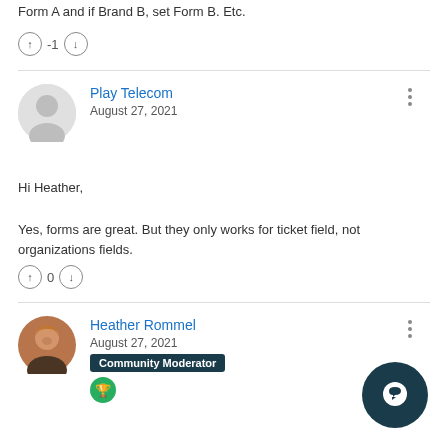Form A and if Brand B, set Form B. Etc.
-1
Play Telecom
August 27, 2021
Hi Heather,

Yes, forms are great. But they only works for ticket field, not organizations fields.
0
Heather Rommel
August 27, 2021
Community Moderator